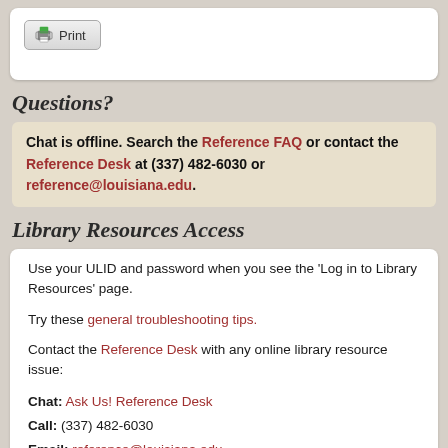[Figure (screenshot): Print button with printer icon]
Questions?
Chat is offline. Search the Reference FAQ or contact the Reference Desk at (337) 482-6030 or reference@louisiana.edu.
Library Resources Access
Use your ULID and password when you see the 'Log in to Library Resources' page.
Try these general troubleshooting tips.
Contact the Reference Desk with any online library resource issue:
Chat: Ask Us! Reference Desk
Call: (337) 482-6030
Email: reference@louisiana.edu
Text: (337) 205-7558
Visit: 1st Floor
Hours: Reference Desk/Chat